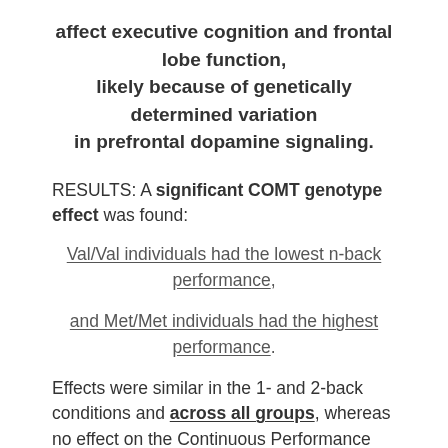affect executive cognition and frontal lobe function, likely because of genetically determined variation in prefrontal dopamine signaling.
RESULTS: A significant COMT genotype effect was found:
Val/Val individuals had the lowest n-back performance,
and Met/Met individuals had the highest performance.
Effects were similar in the 1- and 2-back conditions and across all groups, whereas no effect on the Continuous Performance Test was seen, suggesting that genotype was not affecting working memory.